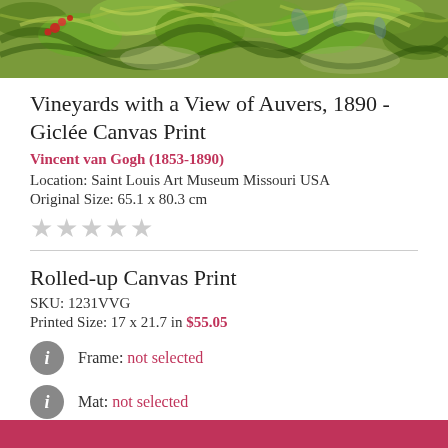[Figure (photo): Top portion of a painting showing vineyards with swirling green foliage and red flowers, in Van Gogh style]
Vineyards with a View of Auvers, 1890 - Giclée Canvas Print
Vincent van Gogh (1853-1890)
Location: Saint Louis Art Museum Missouri USA
Original Size: 65.1 x 80.3 cm
★★★★★ (star rating, empty/grey)
Rolled-up Canvas Print
SKU: 1231VVG
Printed Size: 17 x 21.7 in $55.05
Frame: not selected
Mat: not selected